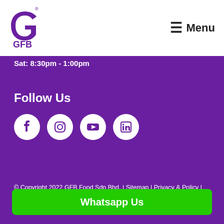[Figure (logo): GFB brand logo — purple letter G with registered mark and GFB text below]
≡ Menu
Sat: 8:30pm - 1:00pm
Follow Us
[Figure (infographic): Row of four white circular social media icon buttons: Facebook, Instagram, YouTube, LinkedIn]
© Copyright 2022 GFB Food Sdn Bhd. | Sitemap | Privacy & Policy | Terms of Services
Whatsapp Us